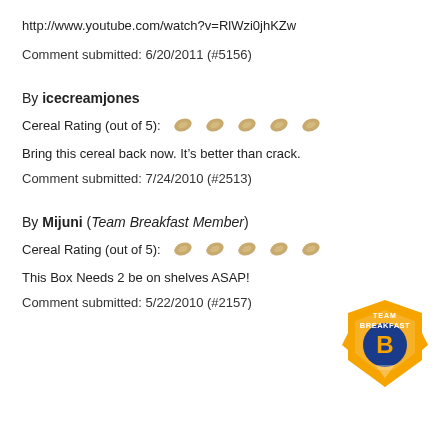http://www.youtube.com/watch?v=RlWzi0jhKZw
Comment submitted: 6/20/2011 (#5156)
By icecreamjones
Cereal Rating (out of 5): [5 grain icons]
Bring this cereal back now. It’s better than crack.
Comment submitted: 7/24/2010 (#2513)
By Mijuni (Team Breakfast Member)
Cereal Rating (out of 5): [5 grain icons]
[Figure (logo): Team Breakfast badge logo - orange shield with 'TEAM BREAKFAST' text and 'B' letter, orange and blue colors]
This Box Needs 2 be on shelves ASAP!
Comment submitted: 5/22/2010 (#2157)